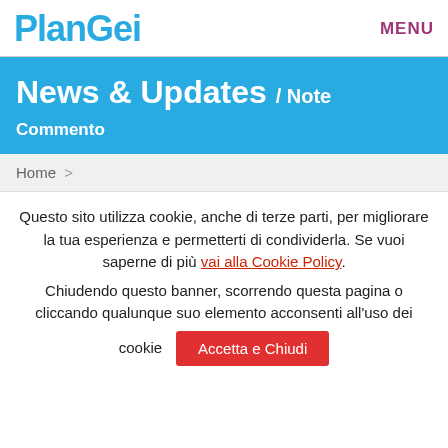PlanGei   MENU
News & Updates / Note
Commento
Home >
Questo sito utilizza cookie, anche di terze parti, per migliorare la tua esperienza e permetterti di condividerla. Se vuoi saperne di più vai alla Cookie Policy. Chiudendo questo banner, scorrendo questa pagina o cliccando qualunque suo elemento acconsenti all'uso dei cookie   Accetta e Chiudi